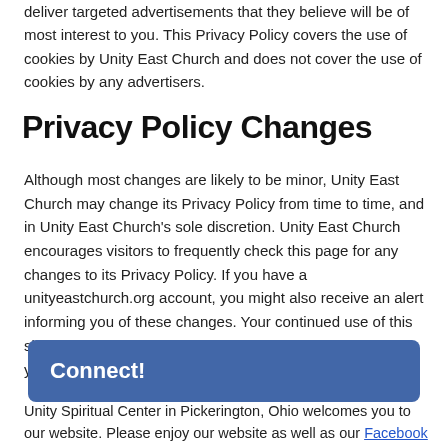deliver targeted advertisements that they believe will be of most interest to you. This Privacy Policy covers the use of cookies by Unity East Church and does not cover the use of cookies by any advertisers.
Privacy Policy Changes
Although most changes are likely to be minor, Unity East Church may change its Privacy Policy from time to time, and in Unity East Church's sole discretion. Unity East Church encourages visitors to frequently check this page for any changes to its Privacy Policy. If you have a unityeastchurch.org account, you might also receive an alert informing you of these changes. Your continued use of this site after any change in this Privacy Policy will constitute your acceptance of such change.
Connect!
Unity Spiritual Center in Pickerington, Ohio welcomes you to our website. Please enjoy our website as well as our Facebook page. We